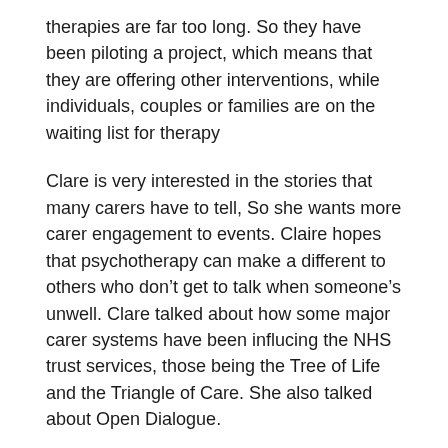therapies are far too long. So they have been piloting a project, which means that they are offering other interventions, while individuals, couples or families are on the waiting list for therapy
Clare is very interested in the stories that many carers have to tell, So she wants more carer engagement to events. Claire hopes that psychotherapy can make a different to others who don't get to talk when someone's unwell. Clare talked about how some major carer systems have been influcing the NHS trust services, those being the Tree of Life and the Triangle of Care. She also talked about Open Dialogue.
Rebecca and David presents on community transformation project
A lot had been covered by Clare on community transformation, but it was also included at this part of the